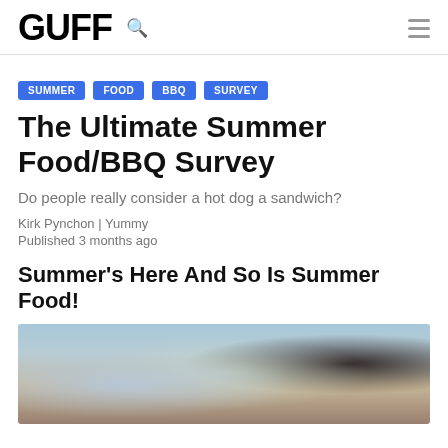GUFF
SUMMER  FOOD  BBQ  SURVEY
The Ultimate Summer Food/BBQ Survey
Do people really consider a hot dog a sandwich?
Kirk Pynchon | Yummy
Published 3 months ago
Summer's Here And So Is Summer Food!
[Figure (photo): Outdoor summer BBQ/gathering scene with people socializing, blurred background with trees and sky, dark figure on right side]